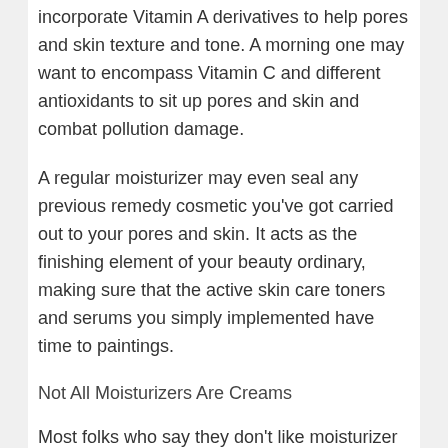incorporate Vitamin A derivatives to help pores and skin texture and tone. A morning one may want to encompass Vitamin C and different antioxidants to sit up pores and skin and combat pollution damage.
A regular moisturizer may even seal any previous remedy cosmetic you've got carried out to your pores and skin. It acts as the finishing element of your beauty ordinary, making sure that the active skin care toners and serums you simply implemented have time to paintings.
Not All Moisturizers Are Creams
Most folks who say they don't like moisturizer are absolutely the usage of one with out knowing. Not all moisturizers are lotions! A clean hydrating gel or some drops of marula oil after your toner are have the equal characteristic as cream moisturizers.
Modern beauty brands make investments quite a few time and effort raising the bar of alternative options...